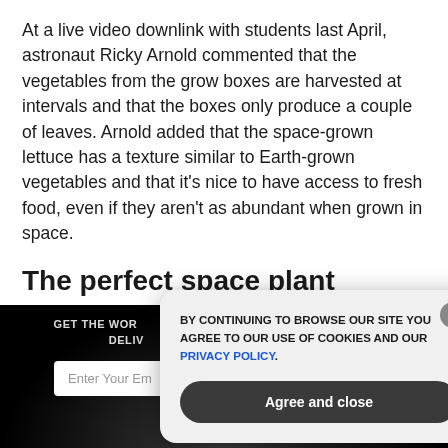At a live video downlink with students last April, astronaut Ricky Arnold commented that the vegetables from the grow boxes are harvested at intervals and that the boxes only produce a couple of leaves. Arnold added that the space-grown lettuce has a texture similar to Earth-grown vegetables and that it's nice to have access to fresh food, even if they aren't as abundant when grown in space.
The perfect space plant
GET THE WORLD'S BEST NATURAL HEALTH NEWSLETTER DELIVERED STRAIGHT TO YOUR INBOX
Enter Your Email Address
SUBSCRIBE
BY CONTINUING TO BROWSE OUR SITE YOU AGREE TO OUR USE OF COOKIES AND OUR PRIVACY POLICY.
Agree and close